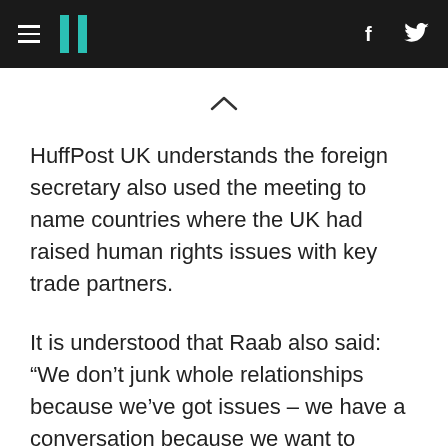HuffPost UK navigation header with hamburger menu, logo, Facebook and Twitter icons
HuffPost UK understands the foreign secretary also used the meeting to name countries where the UK had raised human rights issues with key trade partners.
It is understood that Raab also said: “We don’t junk whole relationships because we’ve got issues – we have a conversation because we want to change the behaviour.
“And I think we’re in a much better position to do